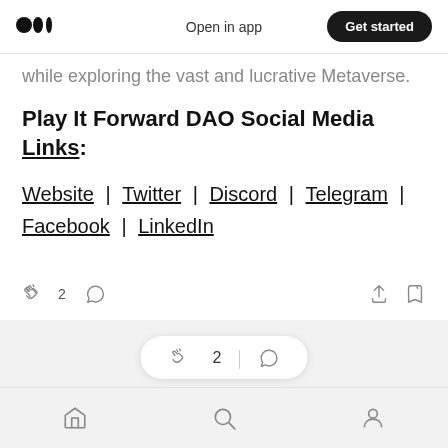Open in app | Get started
while exploring the vast and lucrative Metaverse.
Play It Forward DAO Social Media Links:
Website | Twitter | Discord | Telegram | Facebook | LinkedIn
Home | Search | Profile